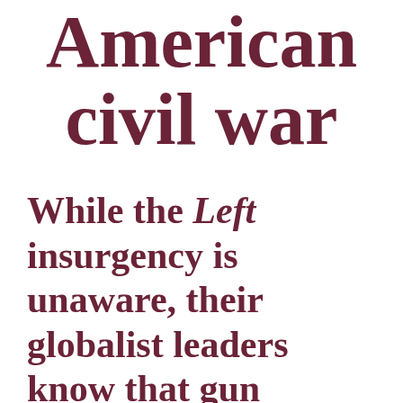American civil war
While the Left insurgency is unaware, their globalist leaders know that gun confiscation is guaranteed to start a